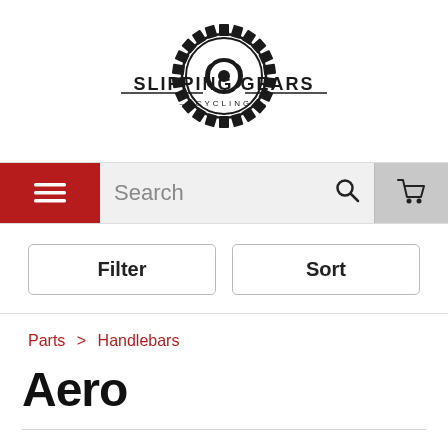[Figure (logo): Slipping Gears Cycling logo — gear/sprocket graphic with text 'SLIPPING GEARS CYCLING']
Navigation bar with hamburger menu, Search field, and cart icon
Filter | Sort
Parts > Handlebars
Aero